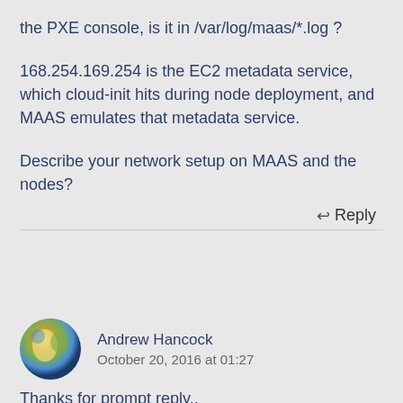the PXE console, is it in /var/log/maas/*.log ?
168.254.169.254 is the EC2 metadata service, which cloud-init hits during node deployment, and MAAS emulates that metadata service.
Describe your network setup on MAAS and the nodes?
↩ Reply
Andrew Hancock
October 20, 2016 at 01:27
Thanks for prompt reply..
Network setup exactly as yours....other than the External Network, which has different IP